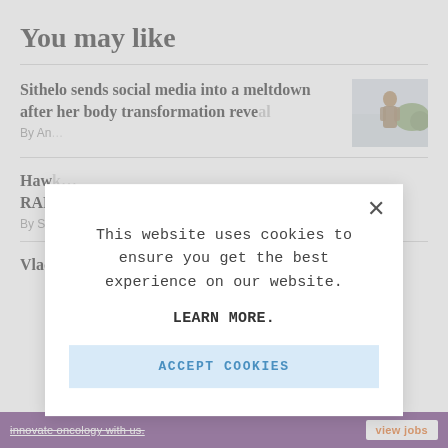You may like
Sithelo sends social media into a meltdown after her body transformation reve[aled]
By An[...]
Haw[k...] RAF[...]
By Se[...]
Vlad[...]
[Figure (screenshot): Cookie consent modal overlay on a news website. Modal contains text: 'This website uses cookies to ensure you get the best experience on our website.' followed by 'LEARN MORE.' and an 'ACCEPT COOKIES' button. Background shows article listing under 'You may like' section.]
innovate oncology with us.   view jobs